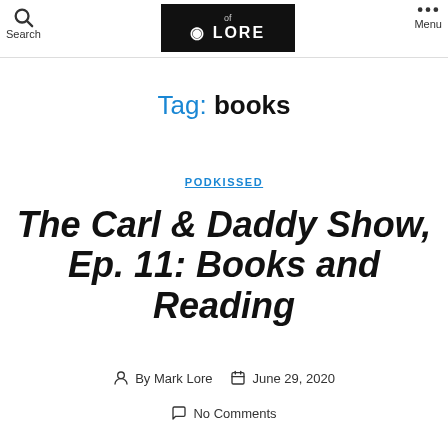Search | [Lore logo] | Menu
Tag: books
PODKISSED
The Carl & Daddy Show, Ep. 11: Books and Reading
By Mark Lore  June 29, 2020
No Comments